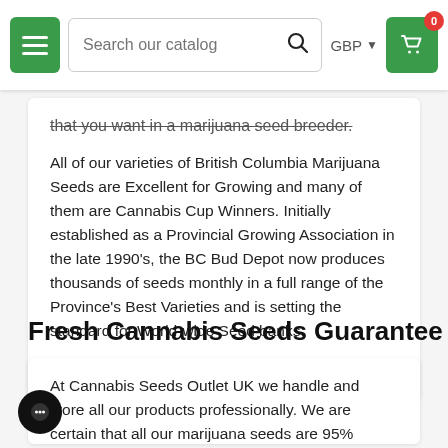Search our catalog | GBP | Cart (0)
that you want in a marijuana seed breeder.
All of our varieties of British Columbia Marijuana Seeds are Excellent for Growing and many of them are Cannabis Cup Winners. Initially established as a Provincial Growing Association in the late 1990's, the BC Bud Depot now produces thousands of seeds monthly in a full range of the Province's Best Varieties and is setting the standard for World-wide Seed banks.
View more strains by BC Bud Depot seeds
Fresh Cannabis Seeds Guarantee
At Cannabis Seeds Outlet UK we handle and store all our products professionally. We are certain that all our marijuana seeds are 95% viable and of the highest premium quality. We have a very competitive policy for dealing with faulty products in case of mishaps to...